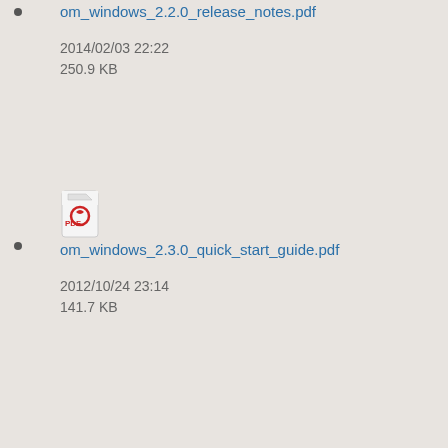om_windows_2.2.0_release_notes.pdf
2014/02/03 22:22
250.9 KB
om_windows_2.3.0_quick_start_guide.pdf
2012/10/24 23:14
141.7 KB
om_windows_2.3.0_quickstart_guide.pdf
2012/12/04 22:33
141.7 KB
om_windows_2.3.0_release_notes.pdf
2014/02/03 22:22
269.7 KB